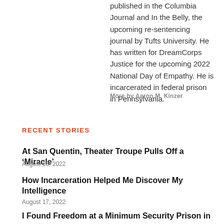published in the Columbia Journal and In the Belly, the upcoming re-sentencing journal by Tufts University. He has written for DreamCorps Justice for the upcoming 2022 National Day of Empathy. He is incarcerated in federal prison in Pennsylvania.
More by Aaron M. Kinzer
RECENT STORIES
At San Quentin, Theater Troupe Pulls Off a ‘Miracle’
August 18, 2022
How Incarceration Helped Me Discover My Intelligence
August 17, 2022
I Found Freedom at a Minimum Security Prison in